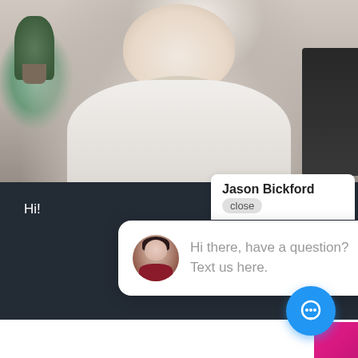[Figure (screenshot): Chat/messaging widget UI screenshot showing a smiling man at a desk in background, with a chat popup overlay displaying 'Jason Bickford' header with close button, and a chat bubble that reads 'Hi there, have a question? Text us here.' with a female avatar, plus a blue chat button icon in the bottom right corner.]
Jason Bickford
close
Hi!
Hi there, have a question? Text us here.